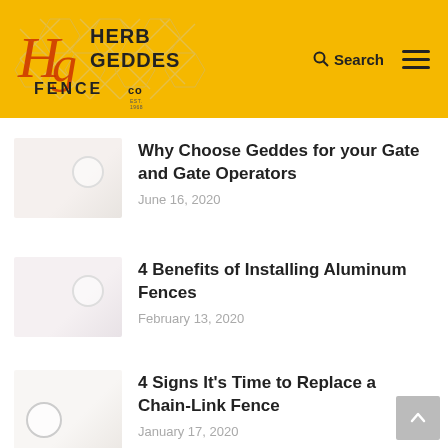[Figure (logo): Herb Geddes Fence Co. logo on yellow/amber background with stylized HG monogram and diamond fence pattern]
Why Choose Geddes for your Gate and Gate Operators
June 16, 2020
4 Benefits of Installing Aluminum Fences
February 13, 2020
4 Signs It's Time to Replace a Chain-Link Fence
January 17, 2020